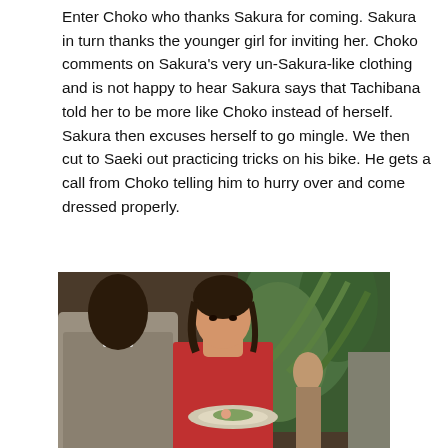Enter Choko who thanks Sakura for coming. Sakura in turn thanks the younger girl for inviting her. Choko comments on Sakura's very un-Sakura-like clothing and is not happy to hear Sakura says that Tachibana told her to be more like Choko instead of herself. Sakura then excuses herself to go mingle. We then cut to Saeki out practicing tricks on his bike. He gets a call from Choko telling him to hurry over and come dressed properly.
[Figure (photo): A woman in a red dress holding a plate at what appears to be a party or reception. A man in a grey suit is seen from behind on the left. Green plants are visible in the background.]
[Figure (photo): A woman smiling at a party or reception. Other people are visible in the background including a woman with white flowers in her hair.]